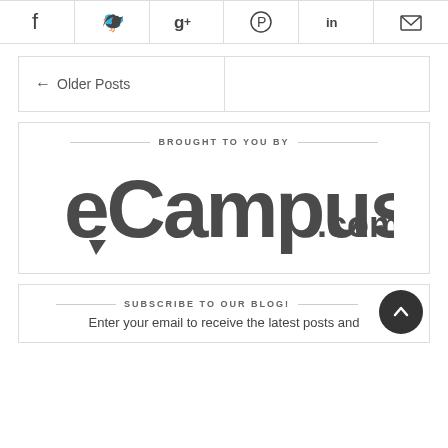[Figure (infographic): Social sharing icon bar with Facebook, Twitter, Google+, Pinterest, LinkedIn, and email icons]
← Older Posts
[Figure (logo): eCampus.com logo with 'BROUGHT TO YOU BY' header]
SUBSCRIBE TO OUR BLOG!
Enter your email to receive the latest posts and